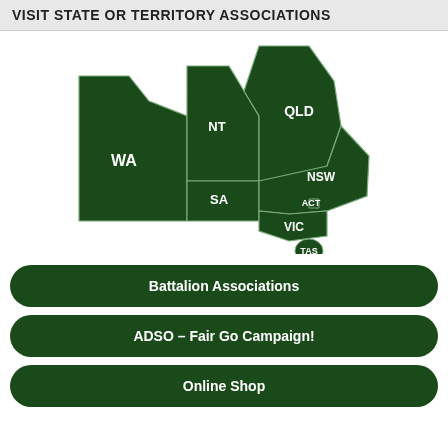VISIT STATE OR TERRITORY ASSOCIATIONS
[Figure (map): Map of Australia divided into states and territories: WA (Western Australia), NT (Northern Territory), QLD (Queensland), SA (South Australia), NSW (New South Wales), ACT (Australian Capital Territory), VIC (Victoria), TAS (Tasmania). All regions shown in dark green with white boundary lines and white labels.]
Battalion Associations
ADSO – Fair Go Campaign!
Online Shop